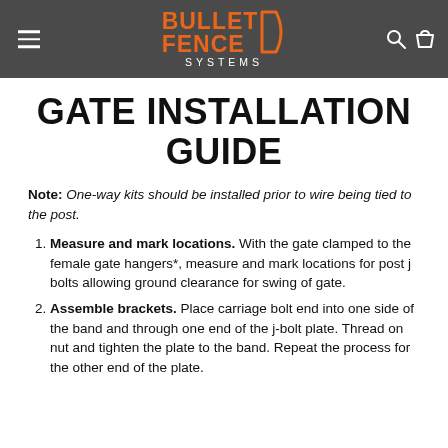Bullet Fence Systems
GATE INSTALLATION GUIDE
Note: One-way kits should be installed prior to wire being tied to the post.
Measure and mark locations. With the gate clamped to the female gate hangers*, measure and mark locations for post j bolts allowing ground clearance for swing of gate.
Assemble brackets. Place carriage bolt end into one side of the band and through one end of the j-bolt plate. Thread on nut and tighten the plate to the band. Repeat the process for the other end of the plate.